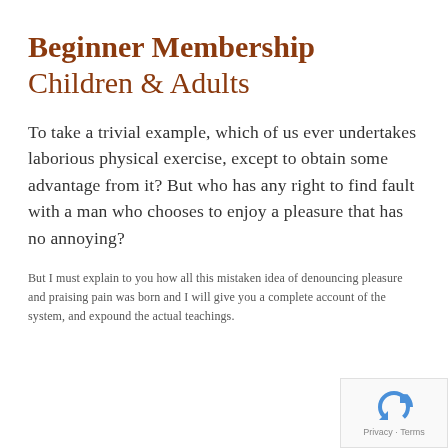Beginner Membership Children & Adults
To take a trivial example, which of us ever undertakes laborious physical exercise, except to obtain some advantage from it? But who has any right to find fault with a man who chooses to enjoy a pleasure that has no annoying?
But I must explain to you how all this mistaken idea of denouncing pleasure and praising pain was born and I will give you a complete account of the system, and expound the actual teachings.
[Figure (logo): reCAPTCHA badge with recycling-style arrow logo and Privacy · Terms text]